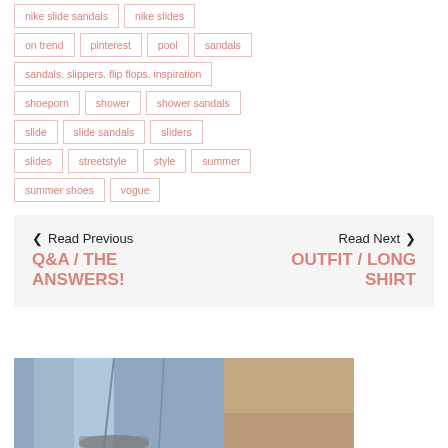nike slide sandals
nike slides
on trend
pinterest
pool
sandals
sandals. slippers. flip flops. inspiration
shoeporn
shower
shower sandals
slide
slide sandals
sliders
slides
streetstyle
style
summer
summer shoes
vogue
Read Previous Q&A / THE ANSWERS!
Read Next OUTFIT / LONG SHIRT
[Figure (photo): Photo of person wearing jeans and sandals/slides, cropped to show lower body]